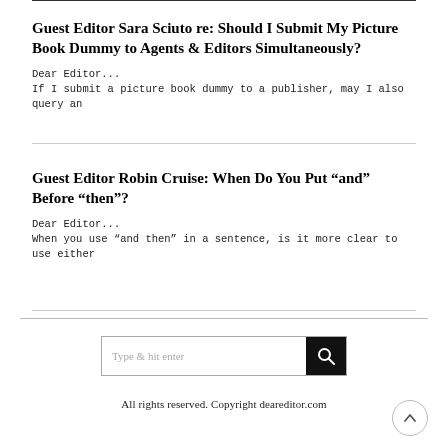Guest Editor Sara Sciuto re: Should I Submit My Picture Book Dummy to Agents & Editors Simultaneously?
Dear Editor...
If I submit a picture book dummy to a publisher, may I also query an
Guest Editor Robin Cruise: When Do You Put “and” Before “then”?
Dear Editor...
When you use “and then” in a sentence, is it more clear to use either
[Figure (other): Search box with placeholder text 'Type & hit enter' and black search button with magnifying glass icon]
All rights reserved. Copyright deareditor.com